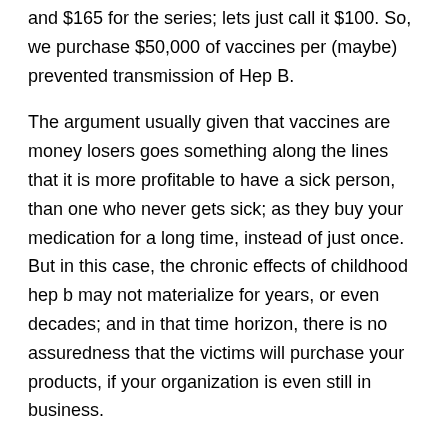and $165 for the series; lets just call it $100. So, we purchase $50,000 of vaccines per (maybe) prevented transmission of Hep B.
The argument usually given that vaccines are money losers goes something along the lines that it is more profitable to have a sick person, than one who never gets sick; as they buy your medication for a long time, instead of just once. But in this case, the chronic effects of childhood hep b may not materialize for years, or even decades; and in that time horizon, there is no assuredness that the victims will purchase your products, if your organization is even still in business.
But in the meantime, you can sell five hundred